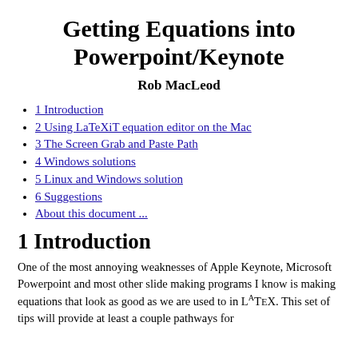Getting Equations into Powerpoint/Keynote
Rob MacLeod
1 Introduction
2 Using LaTeXiT equation editor on the Mac
3 The Screen Grab and Paste Path
4 Windows solutions
5 Linux and Windows solution
6 Suggestions
About this document ...
1 Introduction
One of the most annoying weaknesses of Apple Keynote, Microsoft Powerpoint and most other slide making programs I know is making equations that look as good as we are used to in LATEX. This set of tips will provide at least a couple pathways for